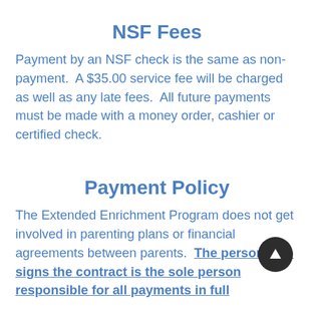NSF Fees
Payment by an NSF check is the same as non-payment.  A $35.00 service fee will be charged as well as any late fees.  All future payments must be made with a money order, cashier or certified check.
Payment Policy
The Extended Enrichment Program does not get involved in parenting plans or financial agreements between parents.  The person who signs the contract is the sole person responsible for all payments in full